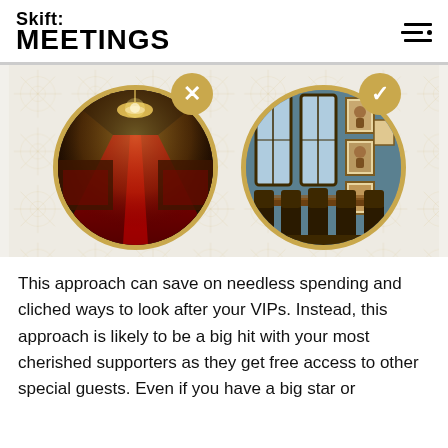Skift: MEETINGS
[Figure (photo): Two circular photos side by side: left photo shows a glamorous red-carpeted hallway with chandeliers (marked with an X badge), right photo shows an intimate restaurant/dining room with framed portraits on the wall (marked with a checkmark badge). Background has a subtle geometric snowflake pattern.]
This approach can save on needless spending and cliched ways to look after your VIPs. Instead, this approach is likely to be a big hit with your most cherished supporters as they get free access to other special guests. Even if you have a big star or